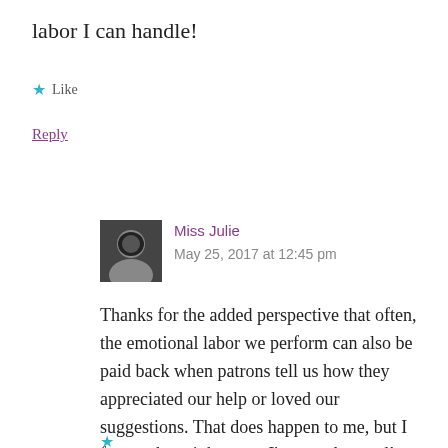labor I can handle!
★ Like
Reply
Miss Julie
May 25, 2017 at 12:45 pm
Thanks for the added perspective that often, the emotional labor we perform can also be paid back when patrons tell us how they appreciated our help or loved our suggestions. That does happen to me, but I forgot about it because I'm so exhausted!